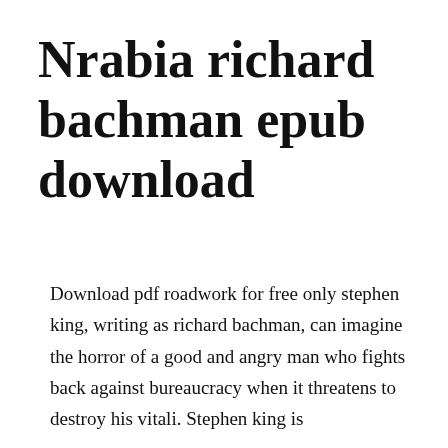Nrabia richard bachman epub download
Download pdf roadwork for free only stephen king, writing as richard bachman, can imagine the horror of a good and angry man who fights back against bureaucracy when it threatens to destroy his vitali. Stephen king is